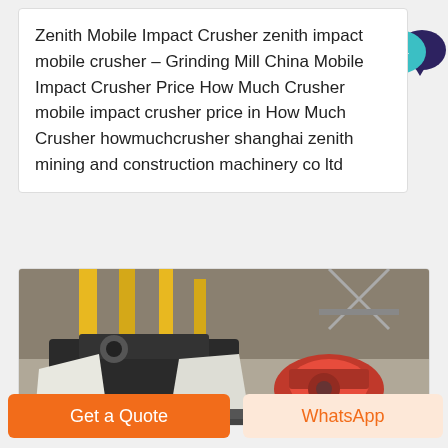Zenith Mobile Impact Crusher zenith impact mobile crusher – Grinding Mill China Mobile Impact Crusher Price How Much Crusher mobile impact crusher price in How Much Crusher howmuchcrusher shanghai zenith mining and construction machinery co ltd
[Figure (photo): Industrial workshop floor with heavy mining/crushing machinery including dark metal crushers, orange/red machine parts, yellow support columns in background, wrapped equipment parts]
Get a Quote
WhatsApp